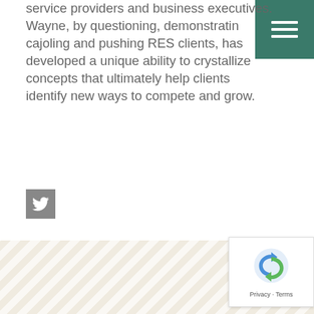service providers and business executives. Wayne, by questioning, demonstrating, cajoling and pushing RES clients, has developed a unique ability to crystallize concepts that ultimately help clients identify new ways to compete and grow.
[Figure (logo): Twitter social media icon square button in grey]
[Figure (other): Diagonal stripe pattern footer banner in beige/cream tones with reCAPTCHA badge showing Google reCAPTCHA logo and Privacy - Terms text]